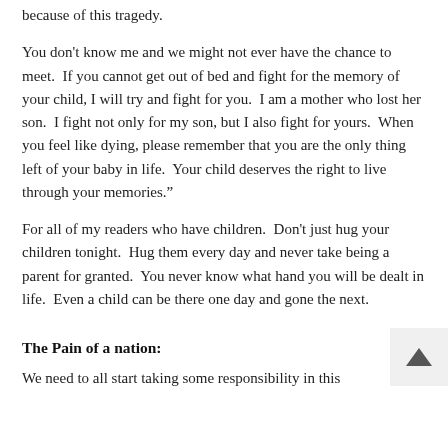because of this tragedy.
You don't know me and we might not ever have the chance to meet.  If you cannot get out of bed and fight for the memory of your child, I will try and fight for you.  I am a mother who lost her son.  I fight not only for my son, but I also fight for yours.  When you feel like dying, please remember that you are the only thing left of your baby in life.  Your child deserves the right to live through your memories.”
For all of my readers who have children.  Don't just hug your children tonight.  Hug them every day and never take being a parent for granted.  You never know what hand you will be dealt in life.  Even a child can be there one day and gone the next.
The Pain of a nation:
We need to all start taking some responsibility in this